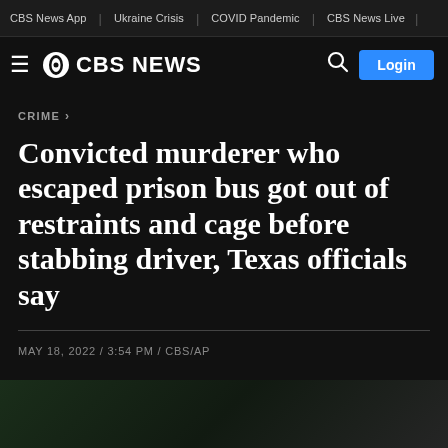CBS News App | Ukraine Crisis | COVID Pandemic | CBS News Live
CBS NEWS
CRIME >
Convicted murderer who escaped prison bus got out of restraints and cage before stabbing driver, Texas officials say
MAY 18, 2022 / 3:54 PM / CBS/AP
[Figure (photo): Aerial or outdoor photo partially visible at bottom of page, dark green and grey tones]